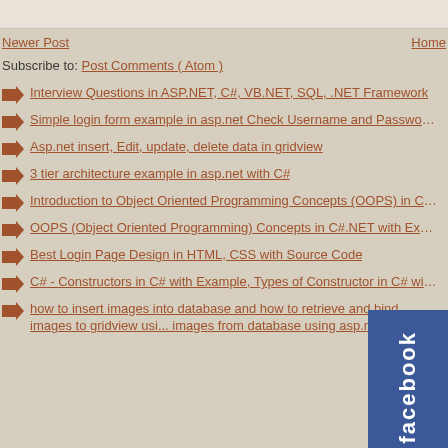Newer Post   Home
Subscribe to: Post Comments ( Atom )
Interview Questions in ASP.NET, C#, VB.NET, SQL, .NET Framework
Simple login form example in asp.net Check Username and Password availability in da...
Asp.net insert, Edit, update, delete data in gridview
3 tier architecture example in asp.net with C#
Introduction to Object Oriented Programming Concepts (OOPS) in C#.net
OOPS (Object Oriented Programming) Concepts in C#.NET with Examples
Best Login Page Design in HTML, CSS with Source Code
C# - Constructors in C# with Example, Types of Constructor in C# with Exam...
how to insert images into database and how to retrieve and bind images to gridview usi... images from database using asp.net
[Figure (logo): Facebook badge/button in blue with white text 'facebook' written vertically]